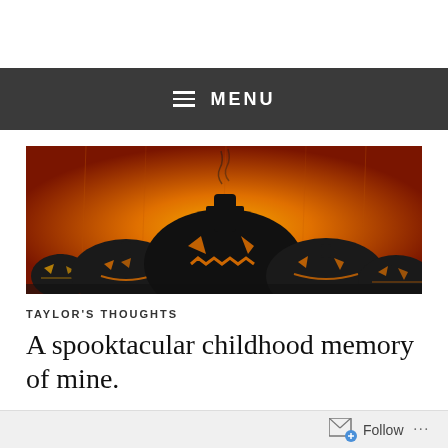MENU
[Figure (photo): Halloween jack-o-lanterns silhouetted against an orange glowing background. Multiple carved pumpkins with menacing faces, one tall pumpkin in the center with a hat-like stem, all set against a vivid orange textured background.]
TAYLOR'S THOUGHTS
A spooktacular childhood memory of mine.
Follow